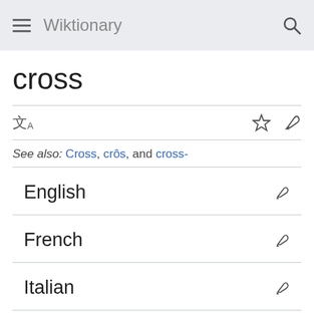Wiktionary
cross
See also: Cross, crôs, and cross-
English
French
Italian
Middle English